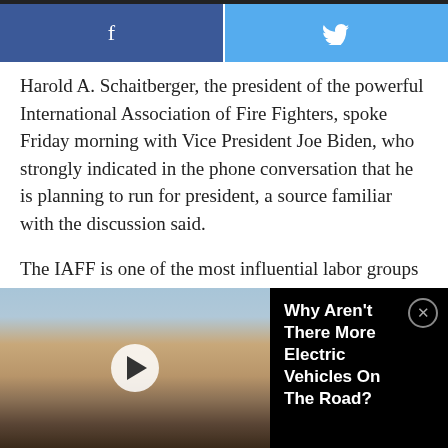[Figure (infographic): Social sharing buttons: Facebook (dark blue, f icon) and Twitter (light blue, bird icon)]
Harold A. Schaitberger, the president of the powerful International Association of Fire Fighters, spoke Friday morning with Vice President Joe Biden, who strongly indicated in the phone conversation that he is planning to run for president, a source familiar with the discussion said.
The IAFF is one of the most influential labor groups in the U.S. Biden is especially close to labor, which could be a key constituency for him if he seeks the White House.
[Figure (screenshot): Video overlay showing a photo of Tesla charging station with brick building in background. A play button is visible. Video title reads: Why Aren't There More Electric Vehicles On The Road? with a close (X) button.]